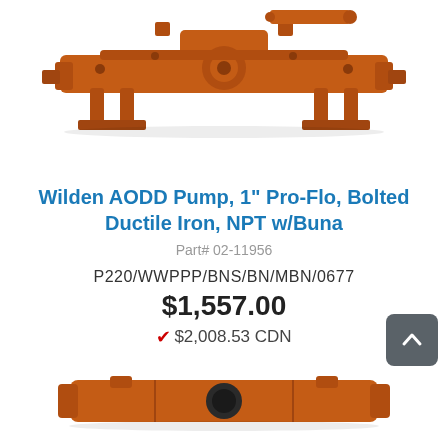[Figure (photo): Orange Wilden AODD pump top view, showing manifold and mechanical components]
Wilden AODD Pump, 1" Pro-Flo, Bolted Ductile Iron, NPT w/Buna
Part# 02-11956
P220/WWPPP/BNS/BN/MBN/0677
$1,557.00
🍁 $2,008.53 CDN
[Figure (photo): Orange Wilden AODD pump bottom view showing manifold connection port]